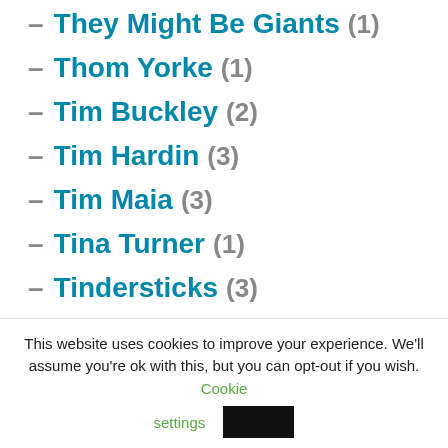– They Might Be Giants (1)
– Thom Yorke (1)
– Tim Buckley (2)
– Tim Hardin (3)
– Tim Maia (3)
– Tina Turner (1)
– Tindersticks (3)
– Tom Jobim (2)
This website uses cookies to improve your experience. We'll assume you're ok with this, but you can opt-out if you wish. Cookie settings